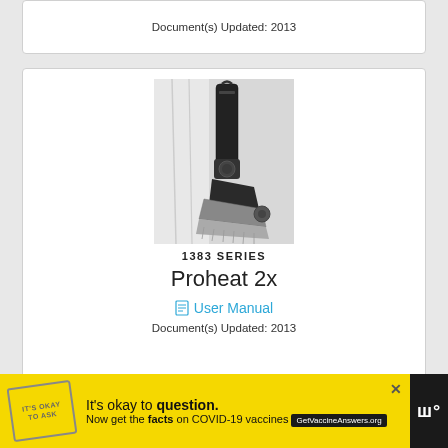Document(s) Updated: 2013
[Figure (photo): Black and white photograph of a Bissell Proheat 2x carpet cleaner/vacuum product, shown at an angle from above]
1383 SERIES
Proheat 2x
User Manual
Document(s) Updated: 2013